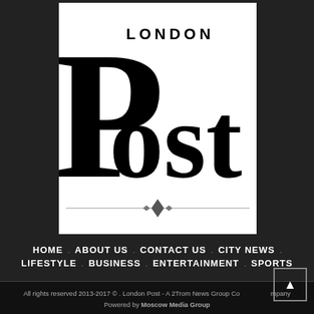[Figure (logo): London Post newspaper logo: large stylized 'P' in serif font on white background, with 'LONDON' in small caps above and 'Post' in large serif text, with decorative divider line and diamond ornament below]
HOME . ABOUT US . CONTACT US . CITY NEWS . LIFESTYLE . BUSINESS . ENTERTAINMENT . SPORTS
All rights reserved 2013-2017 © . London Post - A 2Trom News Group Company
Powered by Moscow Media Group